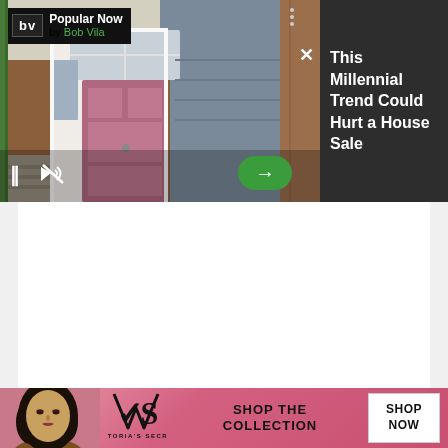[Figure (screenshot): Video banner ad showing a house with a pink front door on the left, with Bob Vila 'Popular Now' logo overlay, pause and mute controls, a green arrow button, and a dark right panel with headline text 'This Millennial Trend Could Hurt a House Sale']
This Millennial Trend Could Hurt a House Sale
[Figure (photo): White content area - blank white space representing webpage content area]
[Figure (infographic): Victoria's Secret banner advertisement with a model on the left, VS logo in center-left, 'SHOP THE COLLECTION' text, and a white 'SHOP NOW' button on the right, all on a pink/rose gradient background]